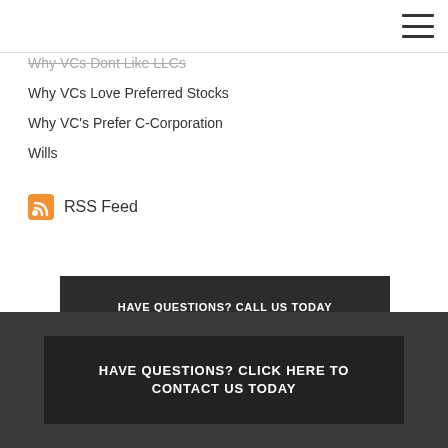Why VCs Dont Like LLCs
Why VCs Love Preferred Stocks
Why VC's Prefer C-Corporation
Wills
RSS Feed
HAVE QUESTIONS? CALL US TODAY
HAVE QUESTIONS? CLICK HERE TO CONTACT US TODAY